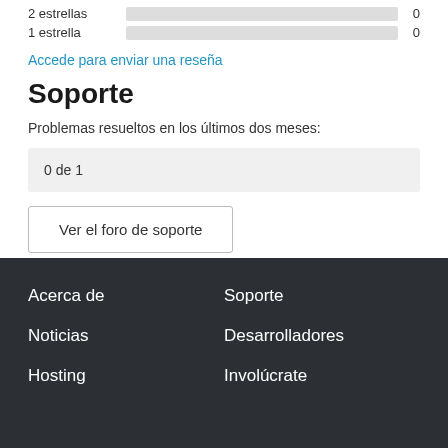2 estrellas   0
1 estrella   0
Accede para enviar una reseña
Soporte
Problemas resueltos en los últimos dos meses:
0 de 1
Ver el foro de soporte
Acerca de  Soporte  Noticias  Desarrolladores  Hosting  Involúcrate